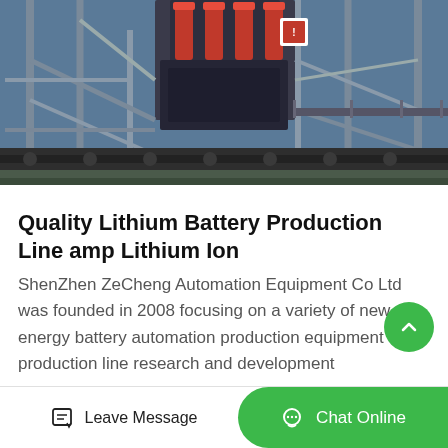[Figure (photo): Industrial machinery photo showing heavy mining or crushing equipment with red hydraulic components, steel framework scaffolding, and mechanical parts — photographed outdoors]
Quality Lithium Battery Production Line amp Lithium Ion
ShenZhen ZeCheng Automation Equipment Co Ltd was founded in 2008 focusing on a variety of new energy battery automation production equipment and production line research and development
Get Price
Leave Message
Chat Online